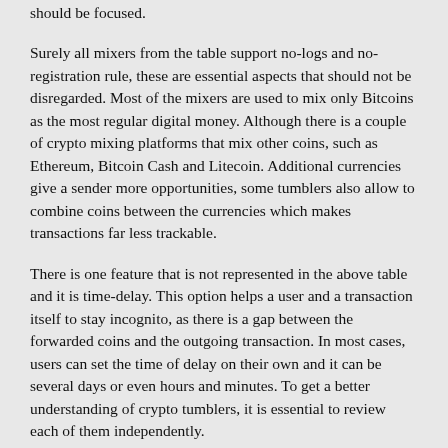should be focused.
Surely all mixers from the table support no-logs and no-registration rule, these are essential aspects that should not be disregarded. Most of the mixers are used to mix only Bitcoins as the most regular digital money. Although there is a couple of crypto mixing platforms that mix other coins, such as Ethereum, Bitcoin Cash and Litecoin. Additional currencies give a sender more opportunities, some tumblers also allow to combine coins between the currencies which makes transactions far less trackable.
There is one feature that is not represented in the above table and it is time-delay. This option helps a user and a transaction itself to stay incognito, as there is a gap between the forwarded coins and the outgoing transaction. In most cases, users can set the time of delay on their own and it can be several days or even hours and minutes. To get a better understanding of crypto tumblers, it is essential to review each of them independently.
Blender has a easy interface, it is convenient to use and simple. Time-delay option can be set up to 24 hours. With regard to the fee, there is an extra fee of 0.0005 % per output address. As one of the few, this cryptocurrency tumbler provides users with a special string, which